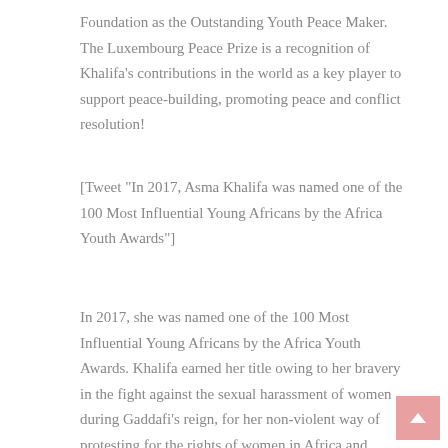Foundation as the Outstanding Youth Peace Maker. The Luxembourg Peace Prize is a recognition of Khalifa's contributions in the world as a key player to support peace-building, promoting peace and conflict resolution!
[Tweet "In 2017, Asma Khalifa was named one of the 100 Most Influential Young Africans by the Africa Youth Awards"]
In 2017, she was named one of the 100 Most Influential Young Africans by the Africa Youth Awards. Khalifa earned her title owing to her bravery in the fight against the sexual harassment of women during Gaddafi's reign, for her non-violent way of protesting for the rights of women in Africa and inspiring young people.